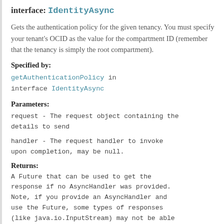interface: IdentityAsync
Gets the authentication policy for the given tenancy. You must specify your tenant's OCID as the value for the compartment ID (remember that the tenancy is simply the root compartment).
Specified by:
getAuthenticationPolicy in interface IdentityAsync
Parameters:
request - The request object containing the details to send
handler - The request handler to invoke upon completion, may be null.
Returns:
A Future that can be used to get the response if no AsyncHandler was provided. Note, if you provide an AsyncHandler and use the Future, some types of responses (like java.io.InputStream) may not be able to be read in both places as the underlying